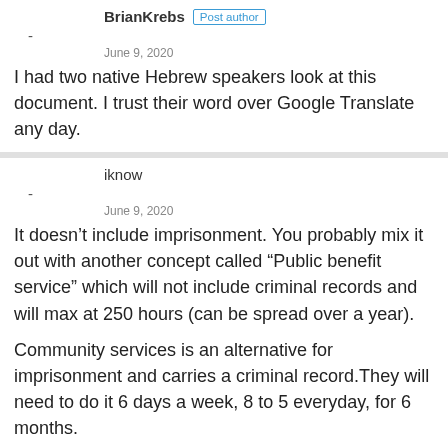- BrianKrebs [Post author]
-
June 9, 2020
I had two native Hebrew speakers look at this document. I trust their word over Google Translate any day.
iknow
-
June 9, 2020
It doesn't include imprisonment. You probably mix it out with another concept called “Public benefit service” which will not include criminal records and will max at 250 hours (can be spread over a year).
Community services is an alternative for imprisonment and carries a criminal record.They will need to do it 6 days a week, 8 to 5 everyday, for 6 months.